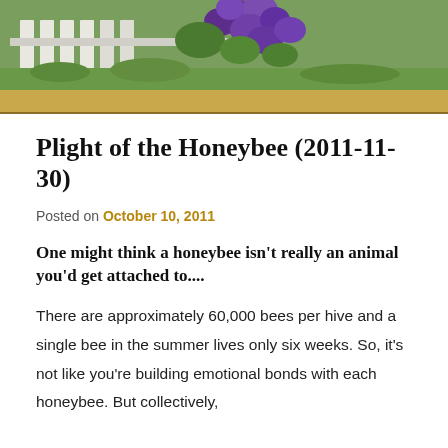[Figure (photo): Partial photo of purple flowers (likely clematis or morning glory) on a white fence with green grass in the background]
Plight of the Honeybee (2011-11-30)
Posted on October 10, 2011
One might think a honeybee isn't really an animal you'd get attached to....
There are approximately 60,000 bees per hive and a single bee in the summer lives only six weeks. So, it's not like you're building emotional bonds with each honeybee. But collectively,